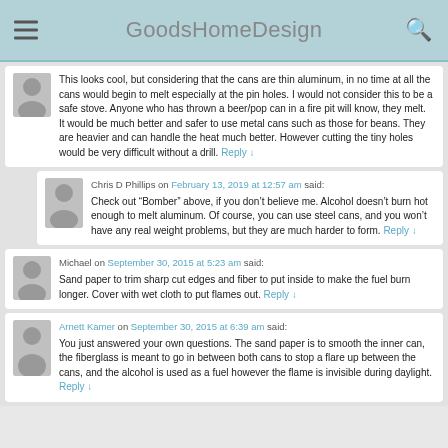GoodsHomeDesign
This looks cool, but considering that the cans are thin aluminum, in no time at all the cans would begin to melt especially at the pin holes. I would not consider this to be a safe stove. Anyone who has thrown a beer/pop can in a fire pit will know, they melt. It would be much better and safer to use metal cans such as those for beans. They are heavier and can handle the heat much better. However cutting the tiny holes would be very difficult without a drill.
Chris D Phillips on February 13, 2019 at 12:57 am said:
Check out “Bomber” above, if you don’t believe me. Alcohol doesn’t burn hot enough to melt aluminum. Of course, you can use steel cans, and you won’t have any real weight problems, but they are much harder to form.
Michael on September 30, 2015 at 5:23 am said:
Sand paper to trim sharp cut edges and fiber to put inside to make the fuel burn longer. Cover with wet cloth to put flames out.
Arnett Kamer on September 30, 2015 at 6:39 am said:
You just answered your own questions. The sand paper is to smooth the inner can, the fiberglass is meant to go in between both cans to stop a flare up between the cans, and the alcohol is used as a fuel however the flame is invisible during daylight.